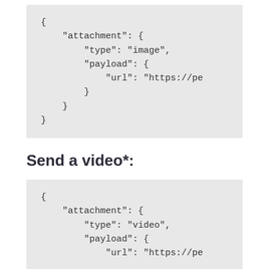[Figure (screenshot): Code block showing JSON with attachment type image and payload url starting with https://pe]
Send a video*:
[Figure (screenshot): Code block showing JSON with attachment type video and payload url starting with https://pe]